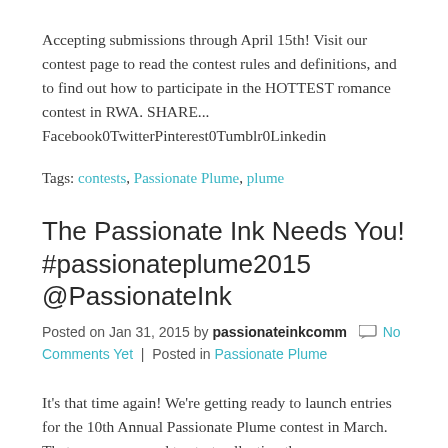Accepting submissions through April 15th! Visit our contest page to read the contest rules and definitions, and to find out how to participate in the HOTTEST romance contest in RWA. SHARE... Facebook0TwitterPinterest0Tumblr0Linkedin
Tags: contests, Passionate Plume, plume
The Passionate Ink Needs You! #passionateplume2015 @PassionateInk
Posted on Jan 31, 2015 by passionateinkcomm  No Comments Yet | Posted in Passionate Plume
It's that time again! We're getting ready to launch entries for the 10th Annual Passionate Plume contest in March. That means we need to start collecting the